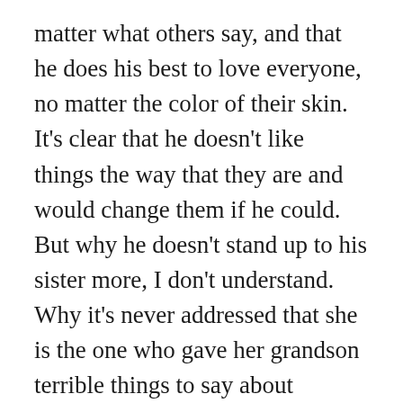matter what others say, and that he does his best to love everyone, no matter the color of their skin. It's clear that he doesn't like things the way that they are and would change them if he could. But why he doesn't stand up to his sister more, I don't understand. Why it's never addressed that she is the one who gave her grandson terrible things to say about Atticus, which were then repeated to Scout, causing Scout to react, I don't know. I understand that Atticus is a single parent just trying to do the best he can to raise two kids and work a difficult job, and that might be enough reason to still allow is sister to move into his house and help with the kids. Perhaps he never fully understands that any of that is happening, since the kids try to protect him by not telling him everything, but on the other hand, it's also clear